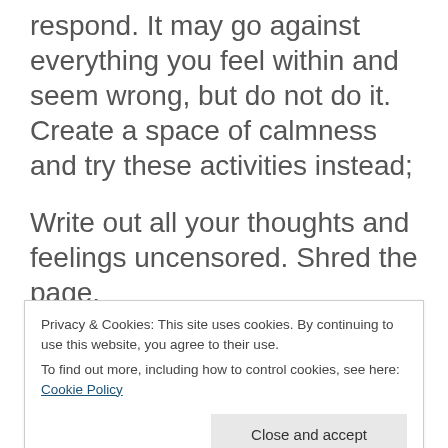respond. It may go against everything you feel within and seem wrong, but do not do it. Create a space of calmness and try these activities instead;
Write out all your thoughts and feelings uncensored. Shred the page.
Talk to a trusted friend and ask their opinion.
Go for a walk...
Privacy & Cookies: This site uses cookies. By continuing to use this website, you agree to their use.
To find out more, including how to control cookies, see here: Cookie Policy
Close and accept